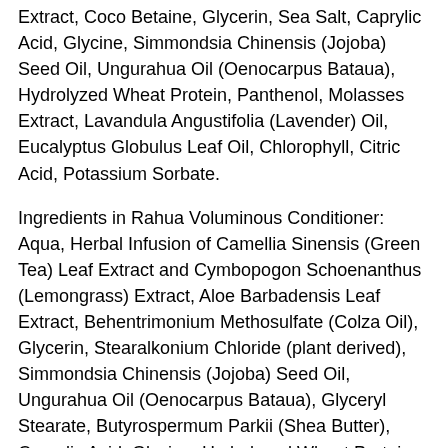Extract, 3-(dimethylamino)propyl betaine, Aloe Barbadensis leaf Extract, Coco Betaine, Glycerin, Sea Salt, Caprylic Acid, Glycine, Simmondsia Chinensis (Jojoba) Seed Oil, Ungurahua Oil (Oenocarpus Bataua), Hydrolyzed Wheat Protein, Panthenol, Molasses Extract, Lavandula Angustifolia (Lavender) Oil, Eucalyptus Globulus Leaf Oil, Chlorophyll, Citric Acid, Potassium Sorbate.
Ingredients in Rahua Voluminous Conditioner: Aqua, Herbal Infusion of Camellia Sinensis (Green Tea) Leaf Extract and Cymbopogon Schoenanthus (Lemongrass) Extract, Aloe Barbadensis Leaf Extract, Behentrimonium Methosulfate (Colza Oil), Glycerin, Stearalkonium Chloride (plant derived), Simmondsia Chinensis (Jojoba) Seed Oil, Ungurahua Oil (Oenocarpus Bataua), Glyceryl Stearate, Butyrospermum Parkii (Shea Butter), Caprylic Acid, Glycine, Hydrolyzed Wheat Protein, Mixed Tocopherol, Lavandula Angustifolia (Lavender) Oil, Eucalyptus Globulus Leaf Oil, Panthenol, Hydrolyzed Oat Protein, Citric Acid, Potassium Sorbate.